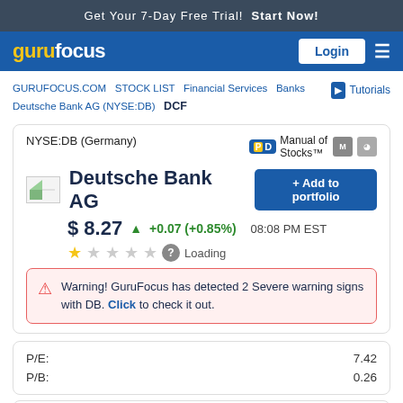Get Your 7-Day Free Trial!  Start Now!
[Figure (logo): GuruFocus logo with navigation bar and Login button]
GURUFOCUS.COM  STOCK LIST  Financial Services  Banks  Deutsche Bank AG (NYSE:DB)  DCF  Tutorials
NYSE:DB (Germany)
Manual of Stocks™
Deutsche Bank AG
$ 8.27  +0.07 (+0.85%)  08:08 PM EST
★☆☆☆☆  Loading
Warning! GuruFocus has detected 2 Severe warning signs with DB. Click to check it out.
| Metric | Value |
| --- | --- |
| P/E: | 7.42 |
| P/B: | 0.26 |
| Metric | Value |
| --- | --- |
| Market Cap: | $ 17.35B |
| Enterprise V: | $ 17.22B |